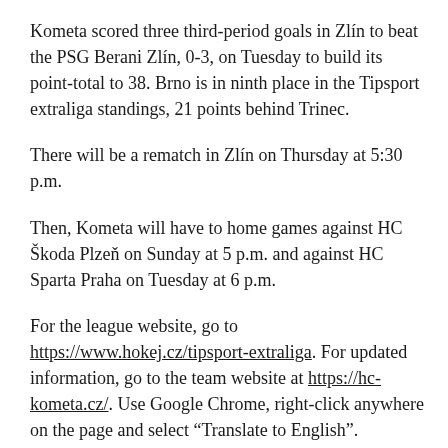Kometa scored three third-period goals in Zlín to beat the PSG Berani Zlín, 0-3, on Tuesday to build its point-total to 38. Brno is in ninth place in the Tipsport extraliga standings, 21 points behind Trinec.
There will be a rematch in Zlín on Thursday at 5:30 p.m.
Then, Kometa will have to home games against HC Škoda Plzeň on Sunday at 5 p.m. and against HC Sparta Praha on Tuesday at 6 p.m.
For the league website, go to https://www.hokej.cz/tipsport-extraliga. For updated information, go to the team website at https://hc-kometa.cz/. Use Google Chrome, right-click anywhere on the page and select “Translate to English”.